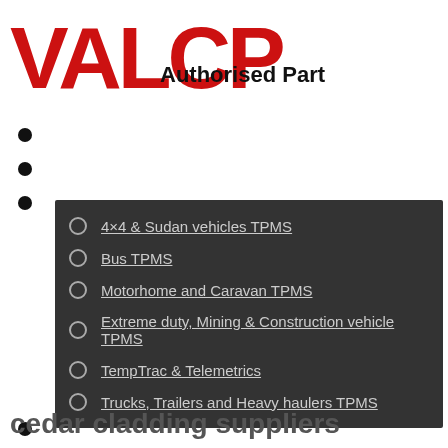[Figure (logo): Partial red bold logo text (VALCP or similar) with 'Authorised Part' text in black bold below/beside it]
4×4 & Sudan vehicles TPMS
Bus TPMS
Motorhome and Caravan TPMS
Extreme duty, Mining & Construction vehicle TPMS
TempTrac & Telemetrics
Trucks, Trailers and Heavy haulers TPMS
cedar cladding suppliers